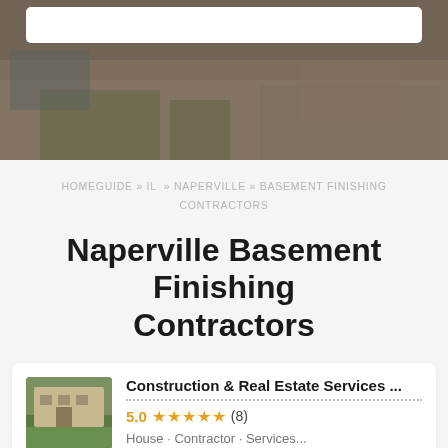[Figure (photo): Hero background image showing a room/construction scene with a semi-transparent dark overlay, and a white search bar at the top]
HOMEGUIDE » IL » NAPERVILLE » BASEMENT FINISHING CONTRACTORS
Naperville Basement Finishing Contractors
Construction & Real Estate Services ...
5.0 ★★★★★ (8)
House · Contractor · Services...